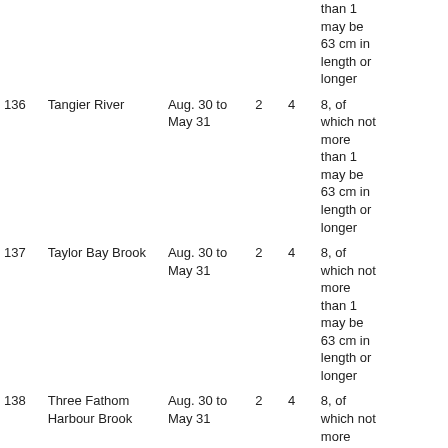|  |  |  | 2 | 4 | than 1 may be 63 cm in length or longer |
| --- | --- | --- | --- | --- | --- |
| 136 | Tangier River | Aug. 30 to May 31 | 2 | 4 | 8, of which not more than 1 may be 63 cm in length or longer |
| 137 | Taylor Bay Brook | Aug. 30 to May 31 | 2 | 4 | 8, of which not more than 1 may be 63 cm in length or longer |
| 138 | Three Fathom Harbour Brook | Aug. 30 to May 31 | 2 | 4 | 8, of which not more than 1 may be 63 cm in length or longer |